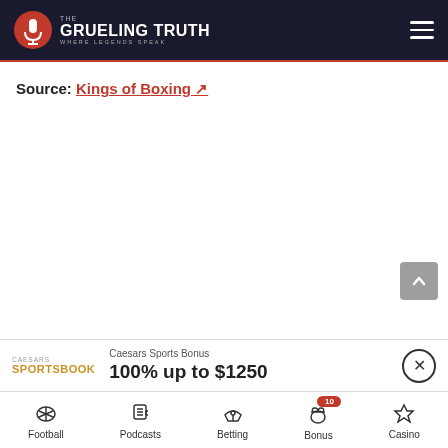The Grueling Truth — Where Legends Speak
Source: Kings of Boxing ↗
[Figure (screenshot): Caesars Sportsbook ad banner: 100% up to $1250]
Football | Podcasts | Betting | Bonus 10 | Casino